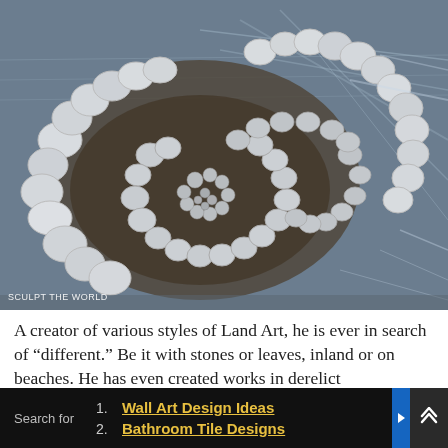[Figure (photo): Aerial view of a large-scale land art installation made of white stones arranged in a spiral/double-circle pattern in shallow water or wet sand. The stones vary in size, larger ones on the outer ring and smaller ones spiraling inward.]
SCULPT THE WORLD
A creator of various styles of Land Art, he is ever in search of “different.” Be it with stones or leaves, inland or on beaches. He has even created works in derelict environments using materials such as broken glass or ashes and general debris. The scale of his work varies massively; he may use stones or
Search for  1. Wall Art Design Ideas  2. Bathroom Tile Designs